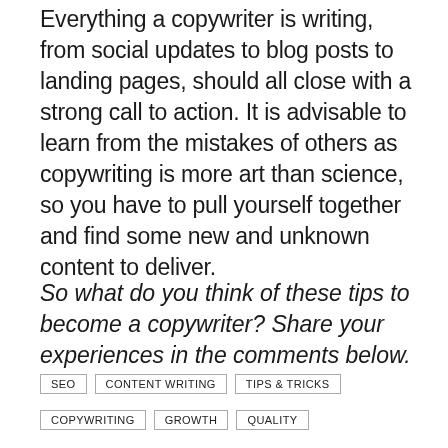Everything a copywriter is writing, from social updates to blog posts to landing pages, should all close with a strong call to action. It is advisable to learn from the mistakes of others as copywriting is more art than science, so you have to pull yourself together and find some new and unknown content to deliver.
So what do you think of these tips to become a copywriter? Share your experiences in the comments below.
SEO
CONTENT WRITING
TIPS & TRICKS
COPYWRITING
GROWTH
QUALITY